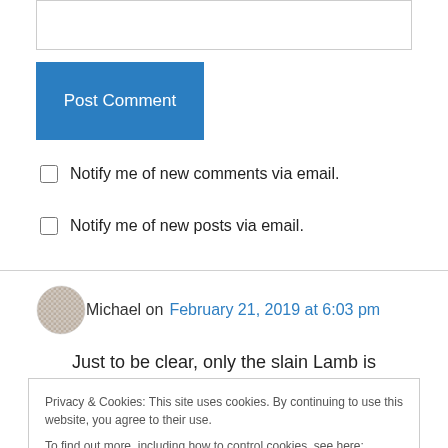[Figure (other): Text input area (textarea) with border]
Post Comment
Notify me of new comments via email.
Notify me of new posts via email.
Michael on February 21, 2019 at 6:03 pm
Just to be clear, only the slain Lamb is
Privacy & Cookies: This site uses cookies. By continuing to use this website, you agree to their use.
To find out more, including how to control cookies, see here: Cookie Policy
Close and accept